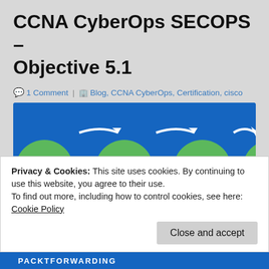CCNA CyberOps SECOPS – Objective 5.1
1 Comment | Blog, CCNA CyberOps, Certification, cisco
[Figure (flowchart): Cyber kill chain flowchart with four green circles labeled RECON, WEAPONIZATION, DELIVERY, EXPLOITATION connected by white arrows on a blue background]
Privacy & Cookies: This site uses cookies. By continuing to use this website, you agree to their use.
To find out more, including how to control cookies, see here:
Cookie Policy
Close and accept